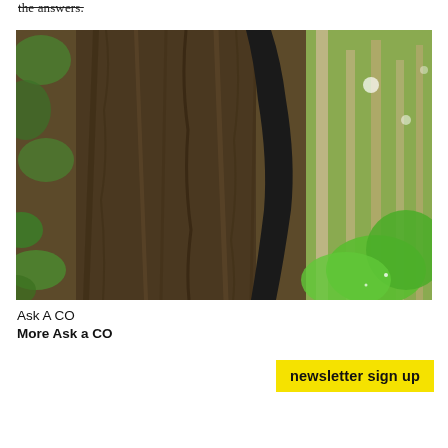the answers.
[Figure (photo): Person in black clothing leaning against a large tree trunk in a forest setting with green foliage in the background]
Ask A CO
More Ask a CO
newsletter sign up